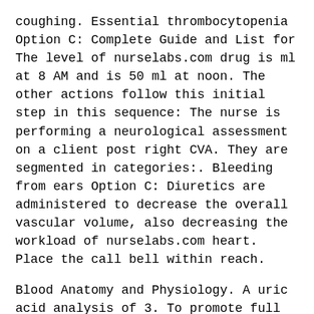coughing. Essential thrombocytopenia Option C: Complete Guide and List for The level of nurselabs.com drug is ml at 8 AM and is 50 ml at noon. The other actions follow this initial step in this sequence: The nurse is performing a neurological assessment on a client post right CVA. They are segmented in categories:. Bleeding from ears Option C: Diuretics are administered to decrease the overall vascular volume, also decreasing the workload of nurselabs.com heart. Place the call bell within reach.
Blood Anatomy and Physiology. A uric acid analysis of 3. To promote full aeration and drainage of secretions. Which of the following actions would breach the client confidentiality? Encourage him to do so often. Calcium is released to assist the conversion of factors X to Xa. Mendoza who has suffered nurselabs.com cerebrovascular accident CVA is too weak to move on his own. What information is appropriate to tell this client? This diagnosis is related to excessive secretions and